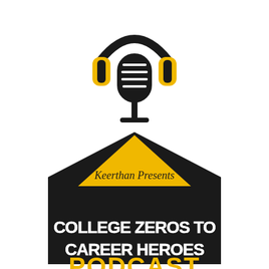[Figure (logo): Podcast logo: microphone with headphones on top, sitting on a building/stage shape with a yellow triangle banner reading 'Keerthan Presents', and bold text 'COLLEGE ZEROS TO CAREER HEROES' across the bottom]